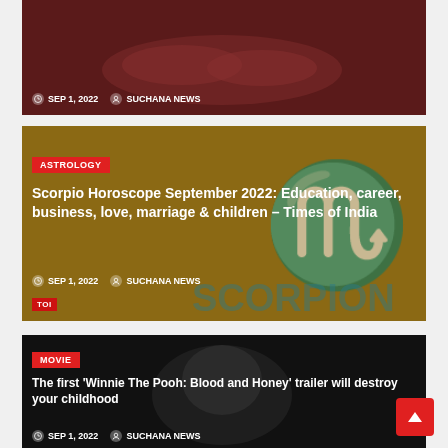[Figure (photo): Top clipped card showing hands on dark red background with date and author metadata]
SEP 1, 2022   SUCHANA NEWS
[Figure (photo): Astrology card with teal scorpio symbol on brown/gold background, TOI logo badge visible]
ASTROLOGY
Scorpio Horoscope September 2022: Education, career, business, love, marriage & children – Times of India
SEP 1, 2022   SUCHANA NEWS
[Figure (photo): Movie card with dark image of animated character (Winnie the Pooh horror film)]
MOVIE
The first 'Winnie The Pooh: Blood and Honey' trailer will destroy your childhood
SEP 1, 2022   SUCHANA NEWS